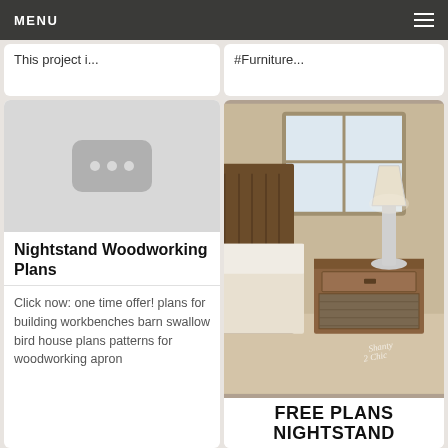MENU
This project i...
#Furniture...
[Figure (illustration): Image placeholder with three dots icon on gray background]
Nightstand Woodworking Plans
Click now: one time offer! plans for building workbenches barn swallow bird house plans patterns for woodworking apron
[Figure (photo): Bedroom nightstand photo showing rustic wooden nightstand with lamp next to a bed near a window. Shanty 2 Chic watermark. Below: FREE PLANS NIGHTSTAND text banner.]
FREE PLANS
NIGHTSTAND